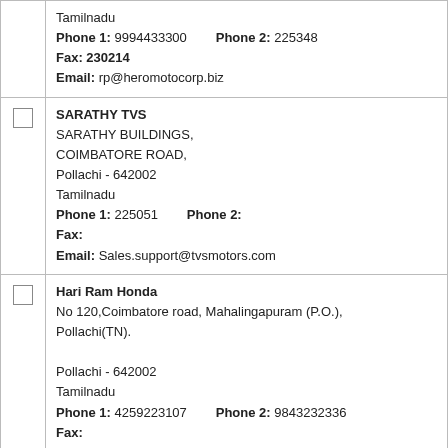| [checkbox] | Tamilnadu
Phone 1: 9994433300   Phone 2: 225348
Fax: 230214
Email: rp@heromotocorp.biz |
| [checkbox] | SARATHY TVS
SARATHY BUILDINGS, COIMBATORE ROAD,
Pollachi - 642002
Tamilnadu
Phone 1: 225051   Phone 2:
Fax:
Email: Sales.support@tvsmotors.com |
| [checkbox] | Hari Ram Honda
No 120,Coimbatore road, Mahalingapuram (P.O.), Pollachi(TN).

Pollachi - 642002
Tamilnadu
Phone 1: 4259223107   Phone 2: 9843232336
Fax:
Email: subbukrishnankannan@yahoo.co.in |
| [checkbox] | SHREE AMMAN MOTOR BIKE
87, PALAGHAT ROAD,

Pollachi - 642001
Tamilnadu
Phone 1: 9344464377   Phone 2: 9843232897 |